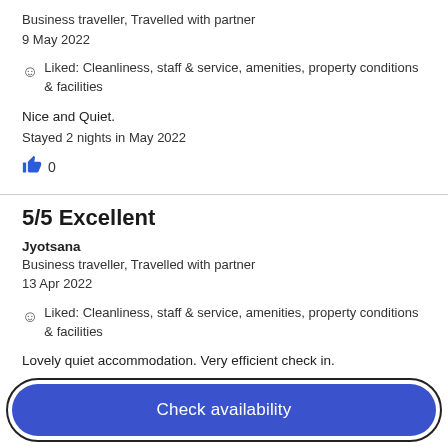Business traveller, Travelled with partner
9 May 2022
Liked: Cleanliness, staff & service, amenities, property conditions & facilities
Nice and Quiet.
Stayed 2 nights in May 2022
0
5/5 Excellent
Jyotsana
Business traveller, Travelled with partner
13 Apr 2022
Liked: Cleanliness, staff & service, amenities, property conditions & facilities
Lovely quiet accommodation. Very efficient check in.
Check availability